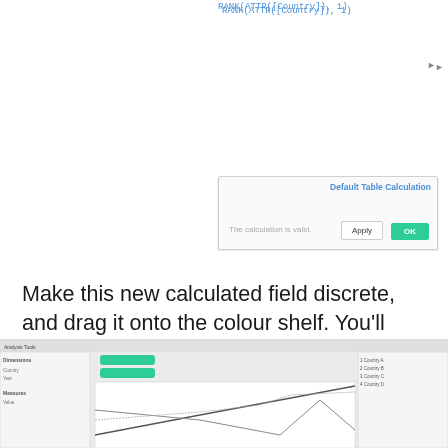[Figure (screenshot): Tableau formula bar showing RANK(ATTR([Country]), 1) with a dialog panel showing 'Default Table Calculation', 'The calculation is valid.', Apply and OK buttons]
Make this new calculated field discrete, and drag it onto the colour shelf. You’ll also need to separate out the countries by putting Country on detail (which was previously done automatically when Country was on colour).
[Figure (screenshot): Tableau Desktop interface showing a line chart with countries colored by rank, with a sidebar showing dimensions and measures]